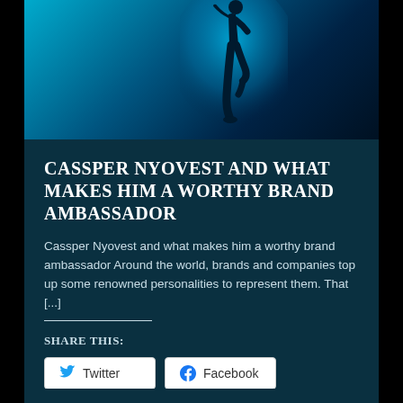[Figure (photo): A silhouetted figure of a person dancing or posing against a bright cyan/blue glowing background]
Cassper Nyovest and what makes him a worthy brand ambassador
Cassper Nyovest and what makes him a worthy brand ambassador Around the world, brands and companies top up some renowned personalities to represent them. That [...]
Share this:
Twitter
Facebook